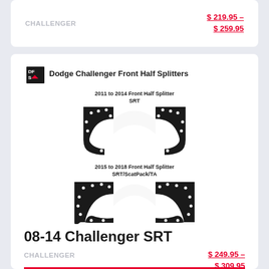CHALLENGER
$ 219.95 – $ 259.95
[Figure (illustration): Product listing image showing Dodge Challenger Front Half Splitters. Top section shows '2011 to 2014 Front Half Splitter SRT' with two black curved splitter pieces. Bottom section shows '2015 to 2018 Front Half Splitter SRT/ScatPack/TA' with two larger black curved splitter pieces. DFS logo and 'Dodge Challenger Front Half Splitters' text at top of image.]
08-14 Challenger SRT
CHALLENGER
$ 249.95 – $ 309.95